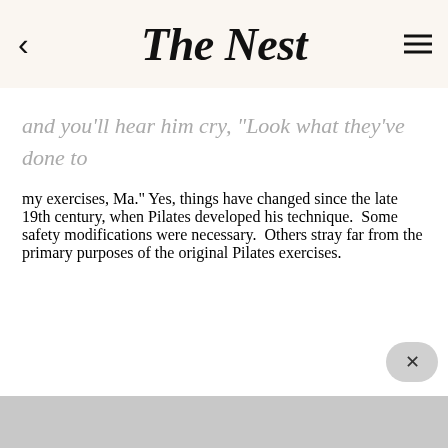The Nest
and you'll hear him cry, "Look what they've done to my exercises, Ma." Yes, things have changed since the late 19th century, when Pilates developed his technique. Some safety modifications were necessary. Others stray far from the primary purposes of the original Pilates exercises.